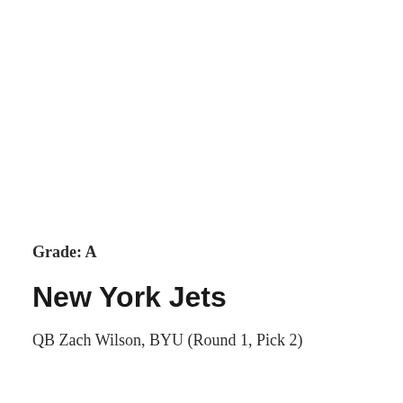Grade: A
New York Jets
QB Zach Wilson, BYU (Round 1, Pick 2)